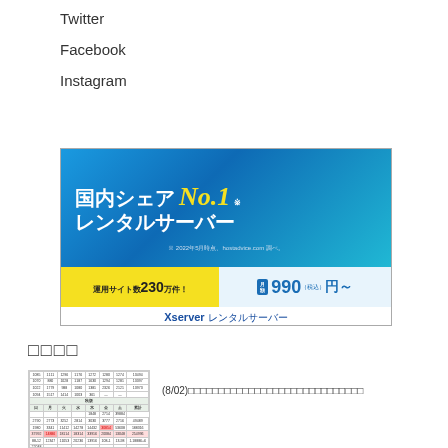Twitter
Facebook
Instagram
[Figure (illustration): Xserver rental server advertisement banner. Blue gradient background with text: 国内シェア No.1 レンタルサーバー ※2022年5月時点、hostadvice.com調べ。運用サイト数230万件！月額990円（税込）～ Xserverレンタルサーバー]
□□□□
[Figure (table-as-image): Small thumbnail of a calendar/schedule table with colored cells]
(8/02)□□□□□□□□□□□□□□□□□□□□□□□□□□□□□